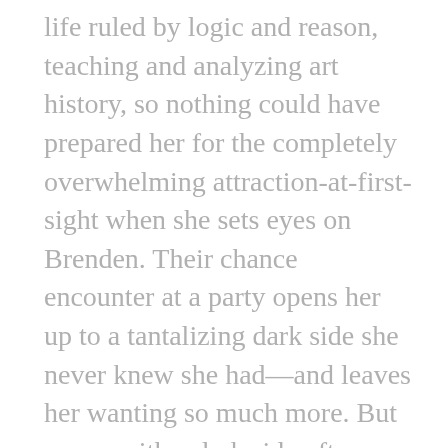life ruled by logic and reason, teaching and analyzing art history, so nothing could have prepared her for the completely overwhelming attraction-at-first-sight when she sets eyes on Brenden. Their chance encounter at a party opens her up to a tantalizing dark side she never knew she had—and leaves her wanting so much more. But a man with a dark side often comes with way too many secrets...ones that could put her life in danger.
Though their chemistry burns hotter than ever, when danger